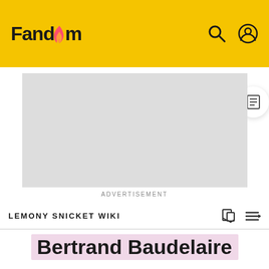Fandom
[Figure (other): Gray advertisement placeholder box]
ADVERTISEMENT
LEMONY SNICKET WIKI
Bertrand Baudelaire
[Figure (photo): Photo of a man with glasses and brown hair wearing a light jacket, outdoors with green foliage background]
[Figure (photo): Partial dark photo, appears to be a second image cropped at right edge]